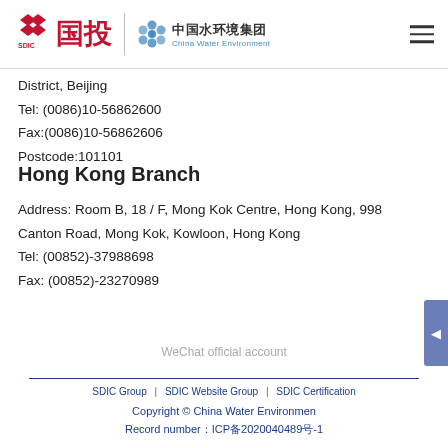[Figure (logo): SDIC 国投 and China Water Environment logos with hamburger menu icon in header]
District, Beijing
Tel: (0086)10-56862600
Fax:(0086)10-56862606
Postcode:101101
Hong Kong Branch
Address: Room B, 18 / F, Mong Kok Centre, Hong Kong, 998 Canton Road, Mong Kok, Kowloon, Hong Kong
Tel: (00852)-37988698
Fax: (00852)-23270989
WeChat official account
SDIC Group | SDIC Website Group | SDIC Certification
Copyright © China Water Environmen
Record number：ICP备2020040489号-1